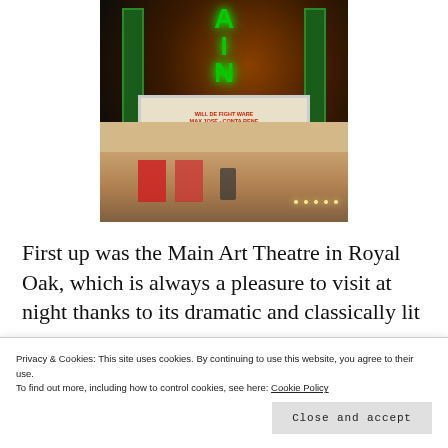[Figure (photo): Nighttime photograph of the Main Art Theatre in Royal Oak. The marquee sign glows with green neon letters spelling 'AIN' (part of MAIN). A white marquee board below shows red text with showtimes. The building is brick with red-lit windows. Street lights and pedestrians visible in background.]
First up was the Main Art Theatre in Royal Oak, which is always a pleasure to visit at night thanks to its dramatic and classically lit up
Privacy & Cookies: This site uses cookies. By continuing to use this website, you agree to their use.
To find out more, including how to control cookies, see here: Cookie Policy
Close and accept